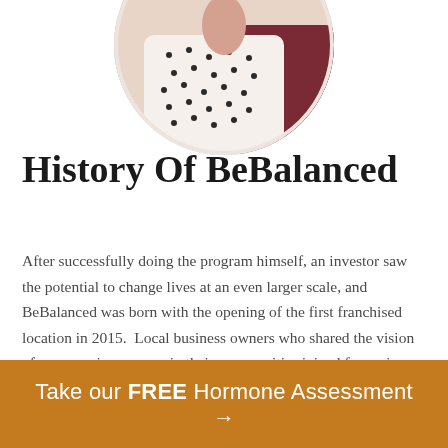[Figure (photo): Circular cropped photo of a person wearing a white polka-dot shirt and burgundy/maroon top, shown from chest/torso area, partially cropped at top of page]
History Of BeBalanced
After successfully doing the program himself, an investor saw the potential to change lives at an even larger scale, and BeBalanced was born with the opening of the first franchised location in 2015.  Local business owners who shared the vision of empowering women in their communities joined forces in a mission to change the future of women's wellness.  BeBalanced seeks to attack the root cause of hormone-related symptoms including weight gain, which can often result in chronic health
Take our FREE Hormone Assessment →